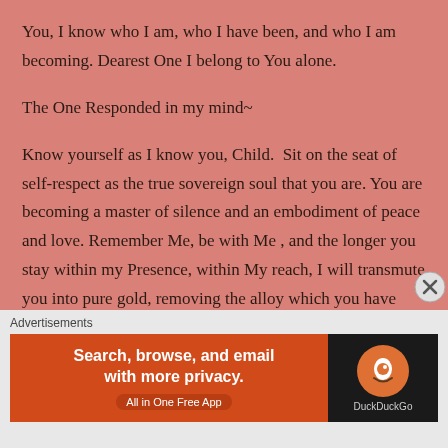You, I know who I am, who I have been, and who I am becoming. Dearest One I belong to You alone.

The One Responded in my mind~

Know yourself as I know you, Child.  Sit on the seat of self-respect as the true sovereign soul that you are. You are becoming a master of silence and an embodiment of peace and love. Remember Me, be with Me , and the longer you stay within my Presence, within My reach, I will transmute you into pure gold, removing the alloy which you have collected over lifetimes of uncertainty, sorrow, and blind faith.
Advertisements
[Figure (other): DuckDuckGo advertisement banner: 'Search, browse, and email with more privacy. All in One Free App' with DuckDuckGo logo on dark background]